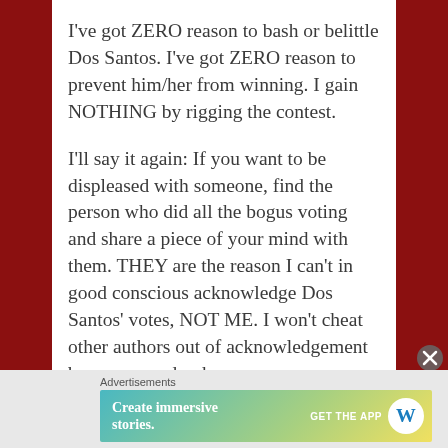I've got ZERO reason to bash or belittle Dos Santos. I've got ZERO reason to prevent him/her from winning. I gain NOTHING by rigging the contest.

I'll say it again: If you want to be displeased with someone, find the person who did all the bogus voting and share a piece of your mind with them. THEY are the reason I can't in good conscious acknowledge Dos Santos' votes, NOT ME. I won't cheat other authors out of acknowledgement because one dumb
[Figure (screenshot): WordPress advertisement banner: 'Create immersive stories. GET THE APP' with WordPress logo]